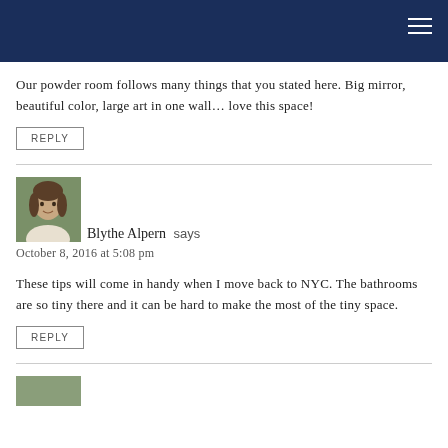Our powder room follows many things that you stated here. Big mirror, beautiful color, large art in one wall… love this space!
REPLY
Blythe Alpern says
October 8, 2016 at 5:08 pm
These tips will come in handy when I move back to NYC. The bathrooms are so tiny there and it can be hard to make the most of the tiny space.
REPLY